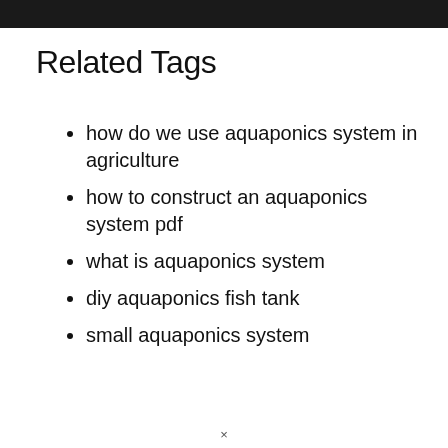[Figure (photo): Dark photograph strip at the top of the page]
Related Tags
how do we use aquaponics system in agriculture
how to construct an aquaponics system pdf
what is aquaponics system
diy aquaponics fish tank
small aquaponics system
×